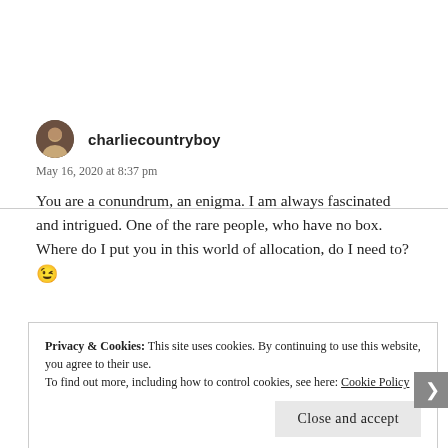charliecountryboy
May 16, 2020 at 8:37 pm
You are a conundrum, an enigma. I am always fascinated and intrigued. One of the rare people, who have no box. Where do I put you in this world of allocation, do I need to? 😉
Privacy & Cookies: This site uses cookies. By continuing to use this website, you agree to their use. To find out more, including how to control cookies, see here: Cookie Policy
Close and accept